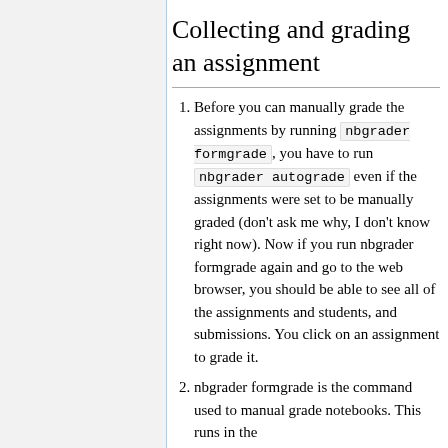Collecting and grading an assignment
Before you can manually grade the assignments by running nbgrader formgrade , you have to run nbgrader autograde even if the assignments were set to be manually graded (don't ask me why, I don't know right now). Now if you run nbgrader formgrade again and go to the web browser, you should be able to see all of the assignments and students, and submissions. You click on an assignment to grade it.
nbgrader formgrade is the command used to manual grade notebooks. This runs in the